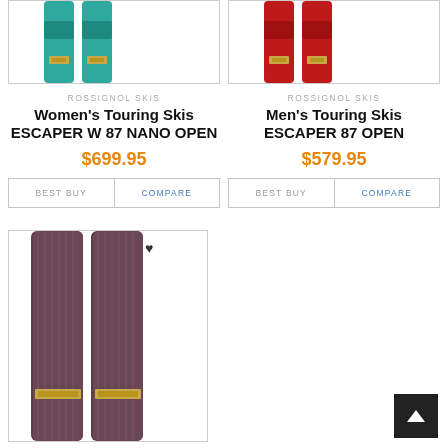[Figure (photo): Two teal/green Rossignol Escaper W 87 Nano Open touring skis shown vertically]
ROSSIGNOL SKIS
Women's Touring Skis ESCAPER W 87 NANO OPEN
$699.95
BEST BUY   COMPARE
[Figure (photo): Two red Rossignol Escaper 87 Open touring skis shown vertically]
ROSSIGNOL SKIS
Men's Touring Skis ESCAPER 87 OPEN
$579.95
BEST BUY   COMPARE
[Figure (photo): Two dark brown/purple Rossignol touring skis shown vertically, large view]